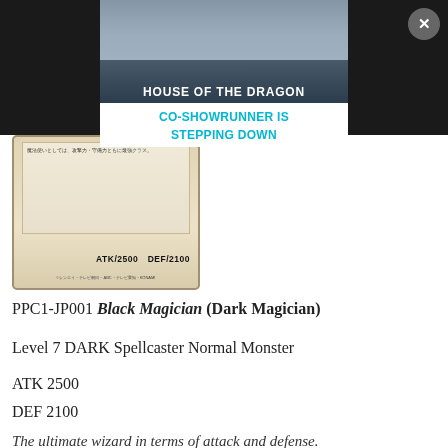[Figure (screenshot): House of the Dragon news banner overlay showing a dark scenic background with white bold text 'HOUSE OF THE DRAGON' and a white box with cyan bold text 'CO-SHOWRUNNER IS STEPPING DOWN'. A close/X button is visible in the top-right corner.]
[Figure (photo): Partial view of a Yu-Gi-Oh! Dark Magician card in Japanese (Black Magician). The bottom portion shows Japanese flavor text, ATK/2500 DEF/2100 stats, and copyright text.]
PPC1-JP001 Black Magician (Dark Magician)
Level 7 DARK Spellcaster Normal Monster
ATK 2500
DEF 2100
The ultimate wizard in terms of attack and defense.
[Figure (photo): Yu-Gi-Oh! card in Japanese featuring パワプロ・レディ三姉妹 (Pawapuro Lady Three Sisters), a Wind-attribute monster card with 7 stars, showing anime-style artwork of a purple-haired female monster character.]